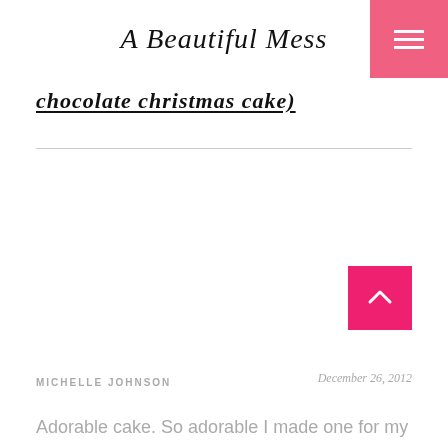A Beautiful Mess
chocolate christmas cake)
MICHELLE JOHNSON
December 26, 2012
Adorable cake. So adorable I made one for my